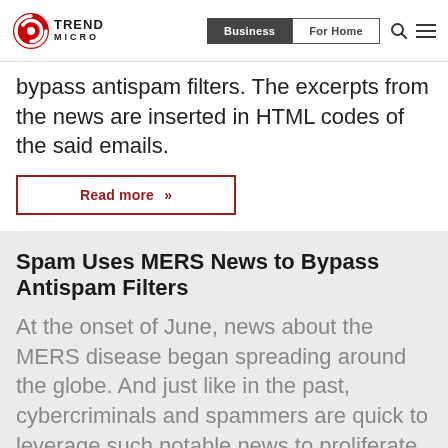Trend Micro | Business | For Home
bypass antispam filters. The excerpts from the news are inserted in HTML codes of the said emails.
Read more »
Spam Uses MERS News to Bypass Antispam Filters
At the onset of June, news about the MERS disease began spreading around the globe. And just like in the past, cybercriminals and spammers are quick to leverage such notable news to proliferate their malicious activities